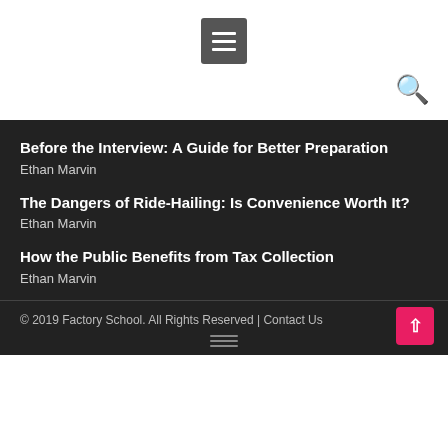[Figure (other): Hamburger menu button (three horizontal lines) on white background]
[Figure (other): Search icon (magnifying glass) on white background]
Before the Interview: A Guide for Better Preparation
Ethan Marvin
The Dangers of Ride-Hailing: Is Convenience Worth It?
Ethan Marvin
How the Public Benefits from Tax Collection
Ethan Marvin
© 2019 Factory School. All Rights Reserved | Contact Us